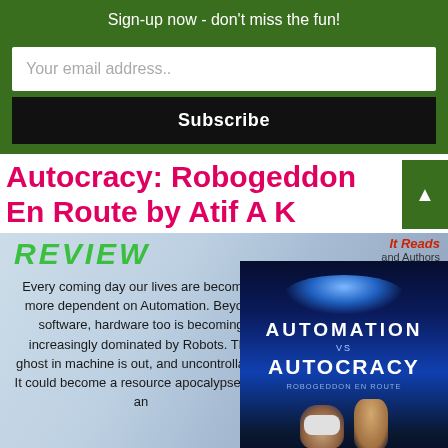Sign-up now - don't miss the fun!
Your email address..
Subscribe
Autocracy: Robogeddon En Route by Atif A K
[Figure (illustration): Book review image showing text 'Every coming day our lives are becoming more dependent on Automation. Beyond software, hardware too is becoming increasingly dominated by Robots. The ghost in machine is out, and uncontrollable. It could become a resource apocalypse with an...' alongside the book cover of 'Automation vs Autocracy: Robogeddon En Route' with a figure wearing VR headset and a raised hand against a blue cosmic background. 'REVIEW' text and 'It Reads and Authors' logo visible.]